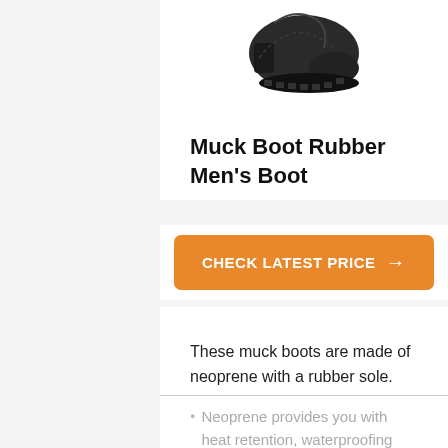[Figure (photo): Black rubber muck boot shown from the side, partially cropped at top]
Muck Boot Rubber Men's Boot
CHECK LATEST PRICE →
SUMMARY
These muck boots are made of neoprene with a rubber sole. The shaft is a tall 14.5 inches. They'll fit your leg perfectly with a 15.5-inch opening. The synthetic neoprene is 5 mm thick.
Neoprene provides you with heat retention, waterproofing